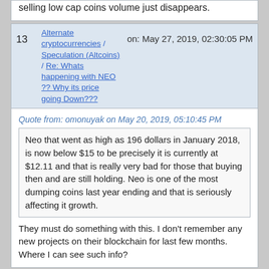selling low cap coins volume just disappears.
13  Alternate cryptocurrencies / Speculation (Altcoins) / Re: Whats happening with NEO ?? Why its price going Down???   on: May 27, 2019, 02:30:05 PM
Quote from: omonuyak on May 20, 2019, 05:10:45 PM
Neo that went as high as 196 dollars in January 2018, is now below $15 to be precisely it is currently at $12.11 and that is really very bad for those that buying then and are still holding. Neo is one of the most dumping coins last year ending and that is seriously affecting it growth.
They must do something with this. I don't remember any new projects on their blockchain for last few months. Where I can see such info?
14  Alternate cryptocurrencies / Speculation (Altcoins) / Re: how hard will Binance coin (BNB) get dumped?   on: May 27, 2019, 02:27:34 PM